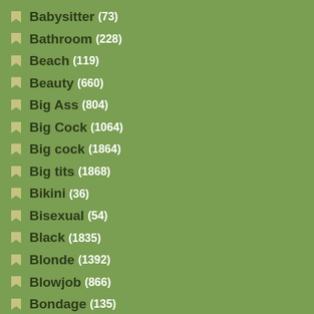Babysitter (73)
Bathroom (228)
Beach (119)
Beauty (660)
Big Ass (804)
Big Cock (1064)
Big cock (1864)
Big tits (1868)
Bikini (36)
Bisexual (54)
Black (1835)
Blonde (1392)
Blowjob (866)
Bondage (135)
Booty (339)
Brutal (207)
Bus (1163)